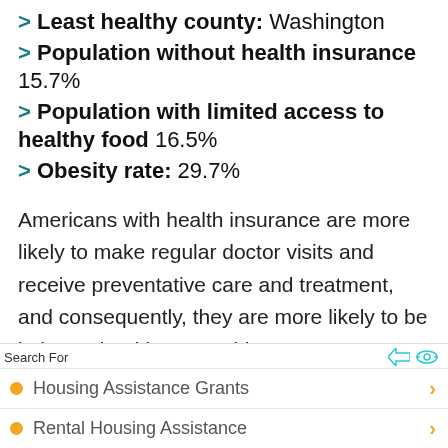> Least healthy county: Washington
> Population without health insurance 15.7%
> Population with limited access to healthy food 16.5%
> Obesity rate: 29.7%
Americans with health insurance are more likely to make regular doctor visits and receive preventative care and treatment, and consequently, they are more likely to be in better health. In Washington County,
Search For
Housing Assistance Grants
Rental Housing Assistance